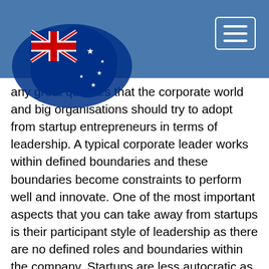[Figure (illustration): Australian flag shaped as map of Australia, top-left corner of page header]
[Figure (illustration): Hamburger menu button (three horizontal lines) in white border box, top-right corner]
any great qualities that the corporate world and big organisations should try to adopt from startup entrepreneurs in terms of leadership. A typical corporate leader works within defined boundaries and these boundaries become constraints to perform well and innovate. One of the most important aspects that you can take away from startups is their participant style of leadership as there are no defined roles and boundaries within the company. Startups are less autocratic as opposed to the corporate world. They are more democratic when it comes to decision making, and this can contribute to the growth of the company.
Entrepreneurs are not afraid to ask for help, and are willing to experiment with different ideas as they are not afraid of failure. Part of participative leadership is that even though the leader makes the final decision, they are more willing to discuss it with their fellow